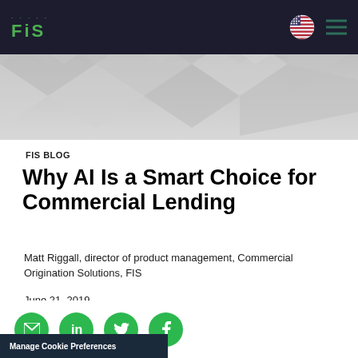FIS
[Figure (illustration): Geometric hexagonal/diamond pattern hero banner background in grey tones]
FIS BLOG
Why AI Is a Smart Choice for Commercial Lending
Matt Riggall, director of product management, Commercial Origination Solutions, FIS
June 21, 2019
Back to Previous >
[Figure (illustration): Social sharing icons: email, LinkedIn, Twitter, Facebook — green circular buttons]
Manage Cookie Preferences